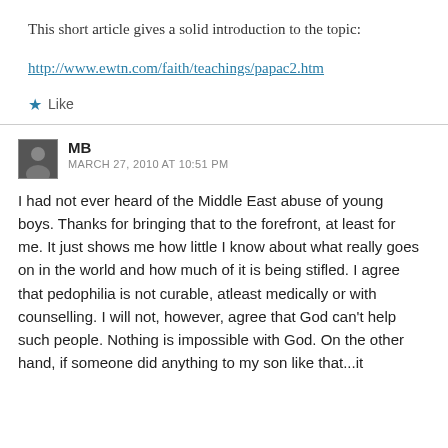This short article gives a solid introduction to the topic:
http://www.ewtn.com/faith/teachings/papac2.htm
★ Like
MB
MARCH 27, 2010 AT 10:51 PM
I had not ever heard of the Middle East abuse of young boys. Thanks for bringing that to the forefront, at least for me. It just shows me how little I know about what really goes on in the world and how much of it is being stifled. I agree that pedophilia is not curable, atleast medically or with counselling. I will not, however, agree that God can't help such people. Nothing is impossible with God. On the other hand, if someone did anything to my son like that...it